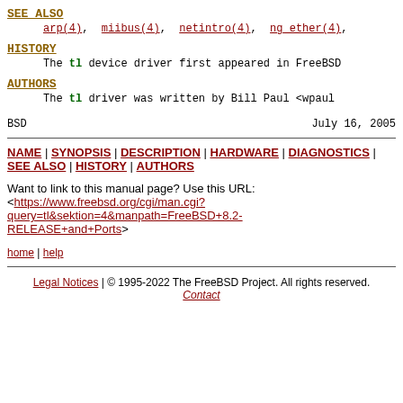SEE ALSO
arp(4), miibus(4), netintro(4), ng_ether(4),
HISTORY
The tl device driver first appeared in FreeBSD
AUTHORS
The tl driver was written by Bill Paul <wpaul
BSD		July 16, 2005
NAME | SYNOPSIS | DESCRIPTION | HARDWARE | DIAGNOSTICS | SEE ALSO | HISTORY | AUTHORS
Want to link to this manual page? Use this URL:
<https://www.freebsd.org/cgi/man.cgi?query=tl&sektion=4&manpath=FreeBSD+8.2-RELEASE+and+Ports>
home | help
Legal Notices | © 1995-2022 The FreeBSD Project. All rights reserved.
Contact